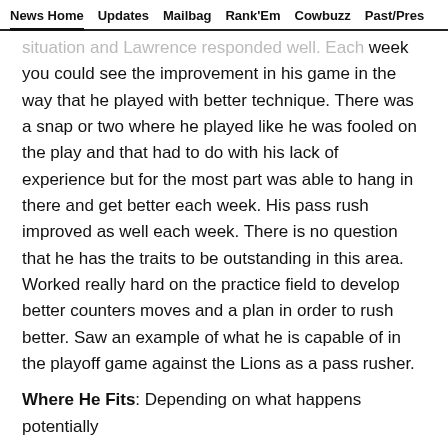News Home   Updates   Mailbag   Rank'Em   Cowbuzz   Past/Pres
...situation and Lawrence responded well. Each week you could see the improvement in his game in the way that he played with better technique. There was a snap or two where he played like he was fooled on the play and that had to do with his lack of experience but for the most part was able to hang in there and get better each week. His pass rush improved as well each week. There is no question that he has the traits to be outstanding in this area. Worked really hard on the practice field to develop better counters moves and a plan in order to rush better. Saw an example of what he is capable of in the playoff game against the Lions as a pass rusher.
Where He Fits: Depending on what happens potentially
[Figure (other): Social sharing icons: Facebook, Twitter, Email, Link]